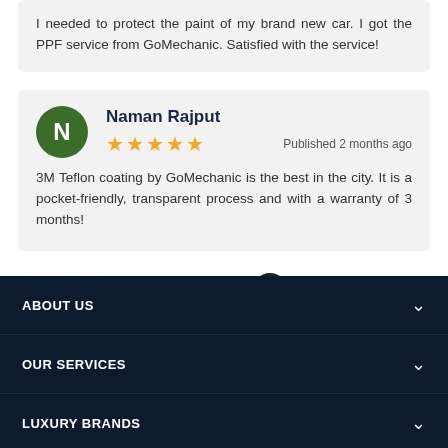I needed to protect the paint of my brand new car. I got the PPF service from GoMechanic. Satisfied with the service!
Naman Rajput
★★★★★ Published 2 months ago
3M Teflon coating by GoMechanic is the best in the city. It is a pocket-friendly, transparent process and with a warranty of 3 months!
See more
ABOUT US
OUR SERVICES
LUXURY BRANDS